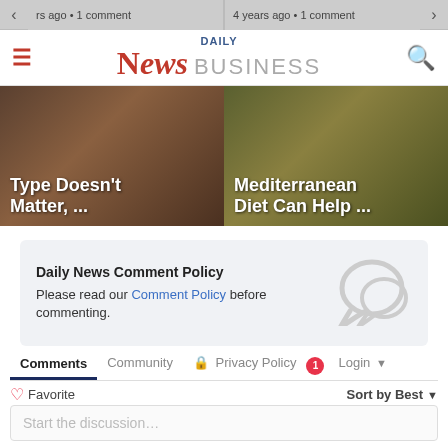rs ago • 1 comment | 4 years ago • 1 comment
[Figure (screenshot): Daily News Business website navbar with hamburger menu, logo, and search icon]
[Figure (photo): Two hero images side by side: left shows 'Type Doesn't Matter, ...' and right shows 'Mediterranean Diet Can Help ...' with dark background overlays]
Daily News Comment Policy
Please read our Comment Policy before commenting.
Comments | Community | Privacy Policy | 1 | Login
♡ Favorite | Sort by Best
Start the discussion…
LOG IN WITH